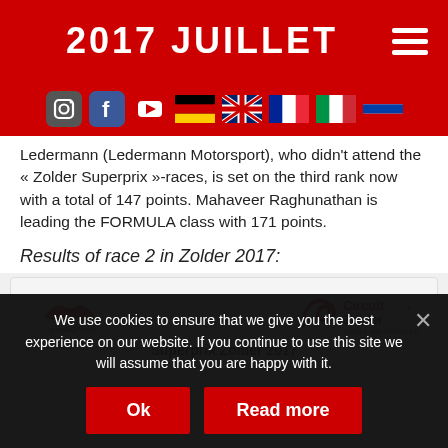2017 JUILLET
[Figure (screenshot): Navigation bar with social media icons (Instagram, Facebook, YouTube) and country flag icons (Germany, UK, France, Italy, Netherlands/Russia)]
Ledermann (Ledermann Motorsport), who didn't attend the « Zolder Superprix »-races, is set on the third rank now with a total of 147 points. Mahaveer Raghunathan is leading the FORMULA class with 171 points.
Results of race 2 in Zolder 2017:
[Figure (screenshot): Race result table header with FormulaGP.com logo on the left and Circuit Zolder logo on the right, with caption 'Superprix Zolder 2017']
We use cookies to ensure that we give you the best experience on our website. If you continue to use this site we will assume that you are happy with it.